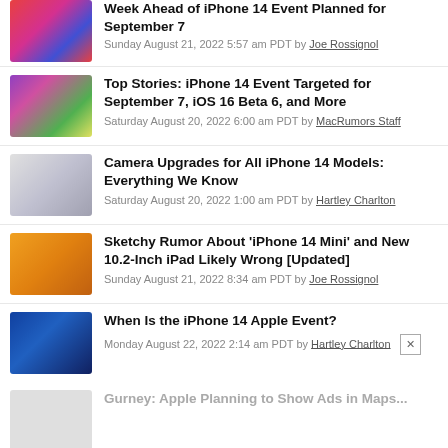Week Ahead of iPhone 14 Event Planned for September 7
Sunday August 21, 2022 5:57 am PDT by Joe Rossignol
Top Stories: iPhone 14 Event Targeted for September 7, iOS 16 Beta 6, and More
Saturday August 20, 2022 6:00 am PDT by MacRumors Staff
Camera Upgrades for All iPhone 14 Models: Everything We Know
Saturday August 20, 2022 1:00 am PDT by Hartley Charlton
Sketchy Rumor About 'iPhone 14 Mini' and New 10.2-Inch iPad Likely Wrong [Updated]
Sunday August 21, 2022 8:34 am PDT by Joe Rossignol
When Is the iPhone 14 Apple Event?
Monday August 22, 2022 2:14 am PDT by Hartley Charlton
Gurney: Apple Planning to Show Ads in Maps...